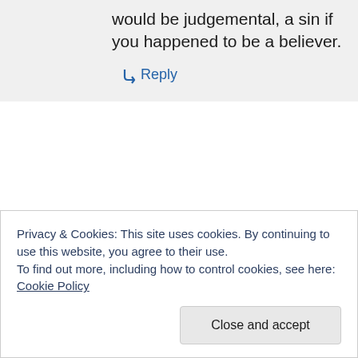would be judgemental, a sin if you happened to be a believer.
↳ Reply
Privacy & Cookies: This site uses cookies. By continuing to use this website, you agree to their use. To find out more, including how to control cookies, see here: Cookie Policy
Close and accept